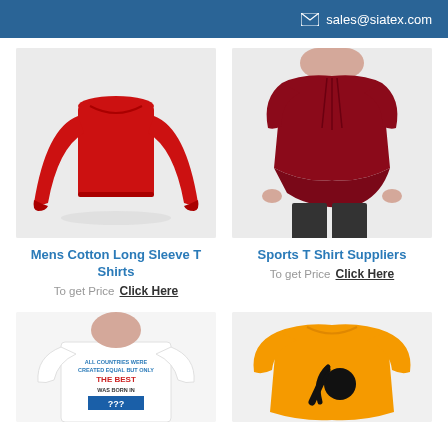sales@siatex.com
[Figure (photo): Red mens cotton long sleeve t-shirt on white background]
[Figure (photo): Dark red sports t-shirt worn by a male model]
Mens Cotton Long Sleeve T Shirts
To get Price  Click Here
Sports T Shirt Suppliers
To get Price  Click Here
[Figure (photo): White t-shirt with text 'ALL COUNTRIES WERE CREATED EQUAL BUT ONLY THE BEST WAS BORN IN...']
[Figure (photo): Orange t-shirt with black graphic design]